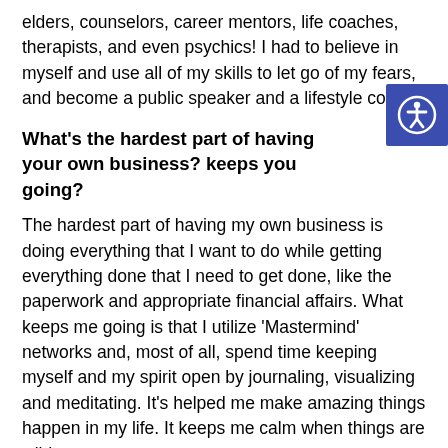elders, counselors, career mentors, life coaches, therapists, and even psychics! I had to believe in myself and use all of my skills to let go of my fears, and become a public speaker and a lifestyle coach.
What's the hardest part of having your own business? keeps you going?
The hardest part of having my own business is doing everything that I want to do while getting everything done that I need to get done, like the paperwork and appropriate financial affairs. What keeps me going is that I utilize 'Mastermind' networks and, most of all, spend time keeping myself and my spirit open by journaling, visualizing and meditating. It's helped me make amazing things happen in my life. It keeps me calm when things are wild.
Why is it essential for Native women to help each other and work together? Why do you think that is?
[Figure (other): Accessibility icon: blue square with white person figure with arms and legs outstretched in a circle]